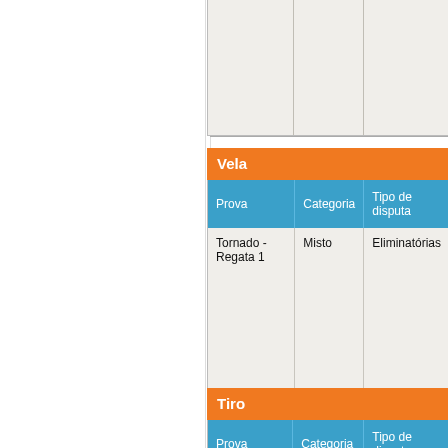| Prova | Categoria | Tipo de disputa |
| --- | --- | --- |
| Tornado - Regata 1 | Misto | Eliminatórias |
Vela
| Prova | Categoria | Tipo de disputa |
| --- | --- | --- |
| Tornado - Regata 1 | Misto | Eliminatórias |
Tiro
| Prova | Categoria | Tipo de disputa |
| --- | --- | --- |
| Tiro Rápido | Masculino | Eliminatórias |
Vela